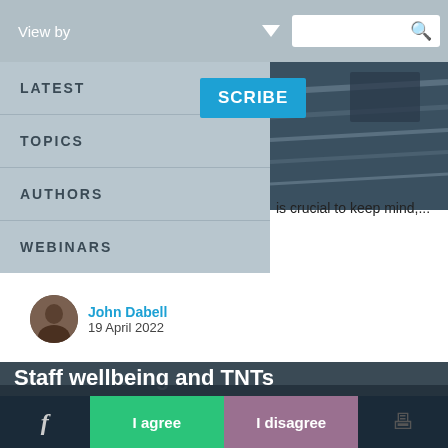View by
LATEST
TOPICS
AUTHORS
WEBINARS
is crucial to keep mind,...
John Dabell
19 April 2022
Staff wellbeing and TNTs
Tiny noticeable things, lollipop moments and filling buckets. John Dabell discusses how these things can make you a better leader. Although there isn't a single definitive leadership skills list, there are four
This website uses cookies to improve user experience. By using our website you consent to all cookies in accordance with our Cookie Policy. Read more
I agree    I disagree